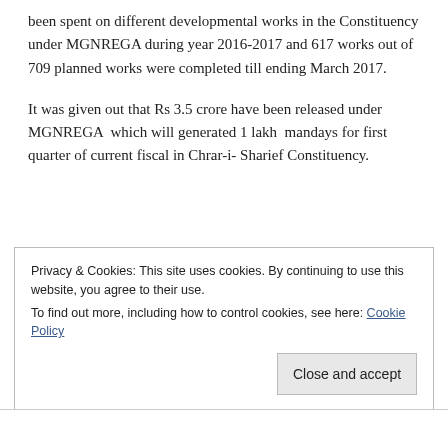been spent on different developmental works in the Constituency under MGNREGA during year 2016-2017 and 617 works out of 709 planned works were completed till ending March 2017.
It was given out that Rs 3.5 crore have been released under MGNREGA  which will generated 1 lakh  mandays for first quarter of current fiscal in Chrar-i- Sharief Constituency.
Privacy & Cookies: This site uses cookies. By continuing to use this website, you agree to their use.
To find out more, including how to control cookies, see here: Cookie Policy
Close and accept